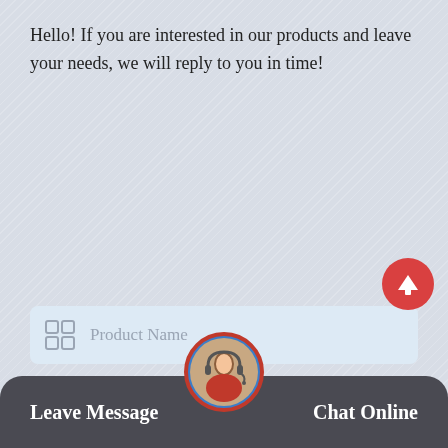Hello! If you are interested in our products and leave your needs, we will reply to you in time!
[Figure (infographic): Contact form UI with fields: Product Name, Your Name, Your Email(*), Your Phone or Whatsapp, Equipment name model related issues]
Leave Message
Chat Online